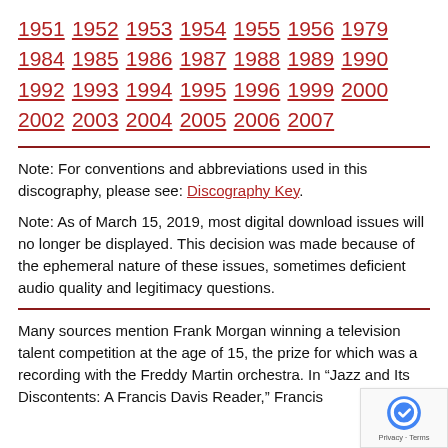1951 1952 1953 1954 1955 1956 1979 1984 1985 1986 1987 1988 1989 1990 1992 1993 1994 1995 1996 1999 2000 2002 2003 2004 2005 2006 2007
Note: For conventions and abbreviations used in this discography, please see: Discography Key.
Note: As of March 15, 2019, most digital download issues will no longer be displayed. This decision was made because of the ephemeral nature of these issues, sometimes deficient audio quality and legitimacy questions.
Many sources mention Frank Morgan winning a television talent competition at the age of 15, the prize for which was a recording with the Freddy Martin orchestra. In “Jazz and Its Discontents: A Francis Davis Reader,” Francis